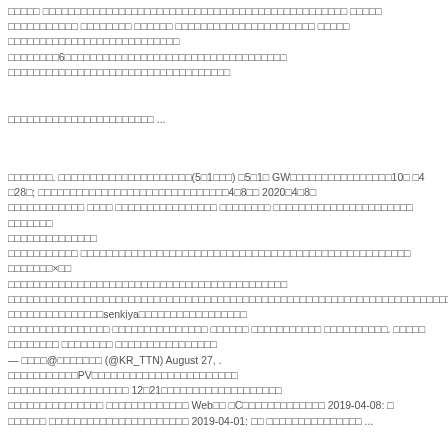□□□□□ □□□□□□□□□□□□□□□□□□□□□□□□□□□□□□□□□□□□□□□□□□□□□□□□ □□□□□ □□□□□□□□□□□ □□□□□□□□ □□□□□□ □□□□□□□□□□□□□□□□□□□□□□ □□□□□ □□□□□□□□□□□□□□□□□□□□□□□□□□□ □□□□□□□□6□□□□□□□□□□□□□□□□□□□□□□□□□□□□□□□□□□□ □□□□□□□□□□□□□□□□□□□□□□□□□□□□□□□□□□□
□□□□□□□□□□□□□□□□□□□□□□□ ...
□□□□□□□. □□□□□□□□□□□□□□□□□□□□□(5□1□□□) □5□1□ GW□□□□□□□□□□□□□□□□10□ □4□28□; □□□□□□□□□□□□□□□□□□□□□□□□□□□□□□4□8□□ 2020□4□8□ □□□□□□□□□□□□ □□□□ □□□□□□□□□□□□□□□□ □□□□□□□□ □□□□□□□□□□□□□□□□□□□□□□ □□□□□□□ □□□□□□□□□□□□□□□□□□□□ □□□□□□□□□□□□□□□□□□□□□□□□□□□□□□□□□□□□□□□□□□□□ □□□□□□□×□□ □□□□□□□□□□□□□□□□□□□□□□□□□□□□□□□□□□□□□□□□□□□□ □□□□□□□□□□□□□□□□□□□□□□□□□□□□□□□□□□□□□□□□□□□□□□□□□□□□□□□□□□□□□□□□□□□□□□□□□□□senkiya□□□□□□□□□□□□□□□□□ □□□□□□□□□□□□□□□□ □□□□□□□□□□□□□□□ □□□□□□ □□□□□□□□□□□ □□□□□□□□□□. □□□□□ □□□□□□□□ □□□□□□□□ □□□□□□□□□□□□□□□□ — □□□□@□□□□□□□ (@KR_TTN) August 27, . □□□□□□□□□□□PV□□□□□□□□□□□□□□□□□□□□□□□ 12□21□□□□□□□□□□□□□□□□□□□ □□□□□□□□□□□□□□□ □□□□□□□□□□□□□ Web□□ □C□□□□□□□□□□□□□ 2019-04-08: □ □□□□□□ □□□□□□□□□□□□□□□□□□□□□□ 2019-04-01: □□ □□□□□□□□□□□□□□□ ...